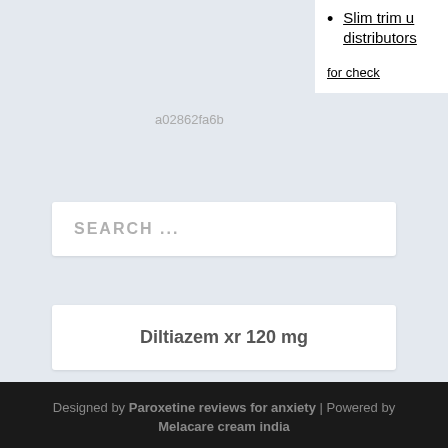Slim trim u distributors
for check
a02862fa6b
SEARCH ...
Diltiazem xr 120 mg
Designed by Paroxetine reviews for anxiety | Powered by Melacare cream india